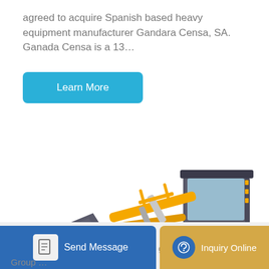agreed to acquire Spanish based heavy equipment manufacturer Gandara Censa, SA. Ganada Censa is a 13...
[Figure (other): A teal/cyan rounded rectangle button labeled 'Learn More' in white text.]
[Figure (photo): A yellow/orange front-end wheel loader (NAONG brand) with a large grey bucket attachment, photographed on a white background. The machine has a glassed cab, four large black tires with orange rims, and various hydraulic arms.]
[Figure (other): Bottom navigation bar with a blue 'Send Message' button (with document icon) on the left and a gold/amber 'Inquiry Online' button (with headset icon) on the right. Partial text 'g Se...' and 'Group ...' also visible.]